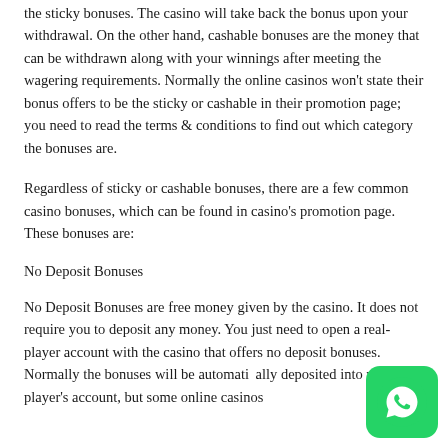the sticky bonuses. The casino will take back the bonus upon your withdrawal. On the other hand, cashable bonuses are the money that can be withdrawn along with your winnings after meeting the wagering requirements. Normally the online casinos won't state their bonus offers to be the sticky or cashable in their promotion page; you need to read the terms & conditions to find out which category the bonuses are.
Regardless of sticky or cashable bonuses, there are a few common casino bonuses, which can be found in casino's promotion page. These bonuses are:
No Deposit Bonuses
No Deposit Bonuses are free money given by the casino. It does not require you to deposit any money. You just need to open a real-player account with the casino that offers no deposit bonuses. Normally the bonuses will be automatically deposited into your player's account, but some online casinos